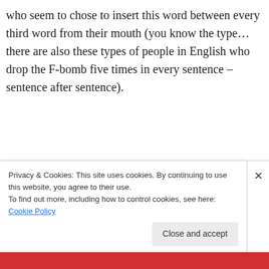who seem to chose to insert this word between every third word from their mouth (you know the type… there are also these types of people in English who drop the F-bomb five times in every sentence – sentence after sentence).
[Figure (other): WordPress VIP advertisement banner with orange/pink gradient background, WordPress logo (W in circle), 'vip' text in bold, and 'Learn more →' button]
Saying this word in excess will just make you look like the dumbest of  idiots.   If you want to be labelled a
Privacy & Cookies: This site uses cookies. By continuing to use this website, you agree to their use.
To find out more, including how to control cookies, see here: Cookie Policy